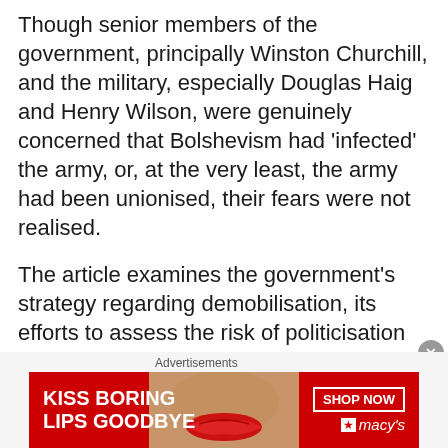Though senior members of the government, principally Winston Churchill, and the military, especially Douglas Haig and Henry Wilson, were genuinely concerned that Bolshevism had ‘infected’ the army, or, at the very least, the army had been unionised, their fears were not realised.
The article examines the government’s strategy regarding demobilisation, its efforts to assess the risk of politicisation and manage the press, and its responses to these waves of strikes, arguing that, essentially, these soldiers were civilians first and simply wanted to return home, though, in the post-war political climate, government fears were very real.
[Figure (other): Advertisement banner for Macy's lipstick promotion. Red background with white text 'KISS BORING LIPS GOODBYE', a woman's face with red lips in center, and a 'SHOP NOW' button with Macy's star logo on the right.]